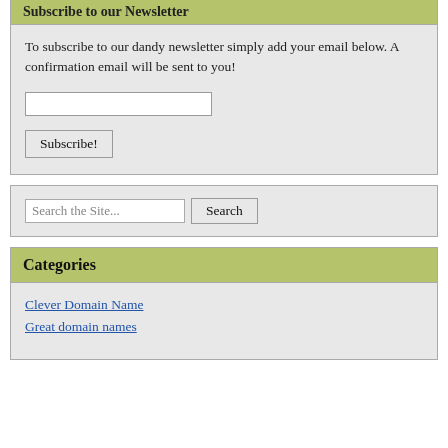Subscribe to our Newsletter
To subscribe to our dandy newsletter simply add your email below. A confirmation email will be sent to you!
Subscribe!
Search the Site...
Categories
Clever Domain Name
Great domain names